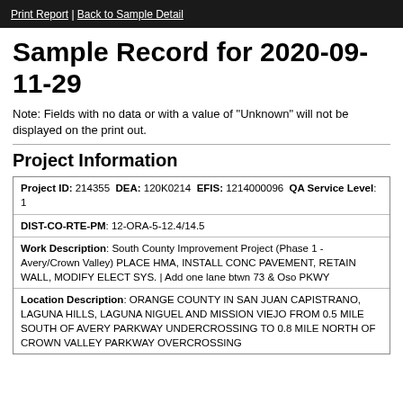Print Report | Back to Sample Detail
Sample Record for 2020-09-11-29
Note: Fields with no data or with a value of "Unknown" will not be displayed on the print out.
Project Information
| Project ID: 214355 DEA: 120K0214 EFIS: 1214000096 QA Service Level: 1 |
| DIST-CO-RTE-PM: 12-ORA-5-12.4/14.5 |
| Work Description: South County Improvement Project (Phase 1 - Avery/Crown Valley) PLACE HMA, INSTALL CONC PAVEMENT, RETAIN WALL, MODIFY ELECT SYS. | Add one lane btwn 73 & Oso PKWY |
| Location Description: ORANGE COUNTY IN SAN JUAN CAPISTRANO, LAGUNA HILLS, LAGUNA NIGUEL AND MISSION VIEJO FROM 0.5 MILE SOUTH OF AVERY PARKWAY UNDERCROSSING TO 0.8 MILE NORTH OF CROWN VALLEY PARKWAY OVERCROSSING |